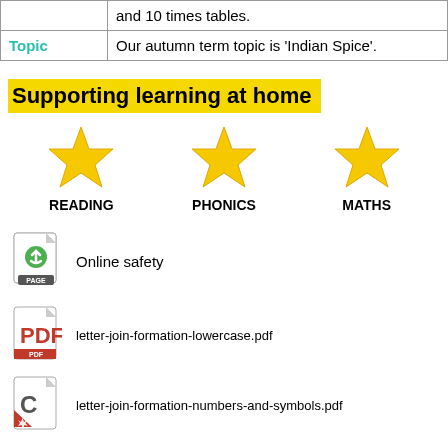|  | and 10 times tables. |
| Topic | Our autumn term topic is 'Indian Spice'. |
Supporting learning at home
[Figure (illustration): Three gold stars above the labels READING, PHONICS, MATHS]
[Figure (illustration): Page icon with green arrow, labeled Online safety]
Online safety
[Figure (illustration): PDF icon red]
letter-join-formation-lowercase.pdf
[Figure (illustration): C icon with red corner badge]
letter-join-formation-numbers-and-symbols.pdf